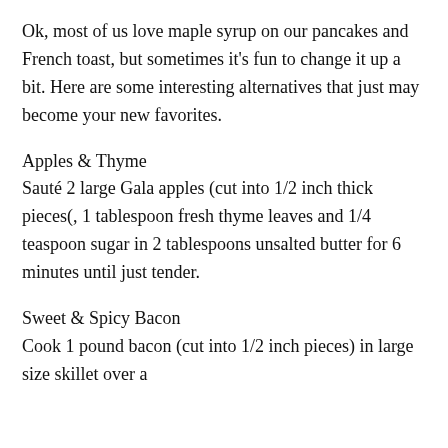Ok, most of us love maple syrup on our pancakes and French toast, but sometimes it's fun to change it up a bit. Here are some interesting alternatives that just may become your new favorites.
Apples & Thyme
Sauté 2 large Gala apples (cut into 1/2 inch thick pieces(, 1 tablespoon fresh thyme leaves and 1/4 teaspoon sugar in 2 tablespoons unsalted butter for 6 minutes until just tender.
Sweet & Spicy Bacon
Cook 1 pound bacon (cut into 1/2 inch pieces) in large size skillet over a